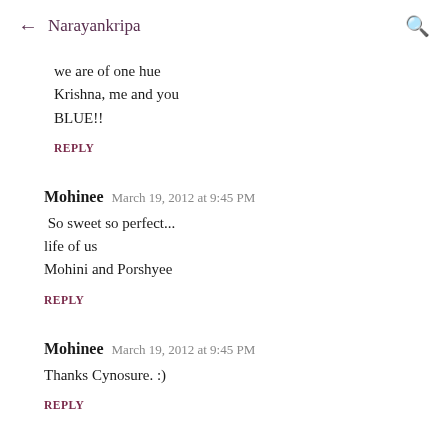← Narayankripa 🔍
we are of one hue
Krishna, me and you
BLUE!!
REPLY
Mohinee  March 19, 2012 at 9:45 PM
So sweet so perfect...
life of us
Mohini and Porshyee
REPLY
Mohinee  March 19, 2012 at 9:45 PM
Thanks Cynosure. :)
REPLY